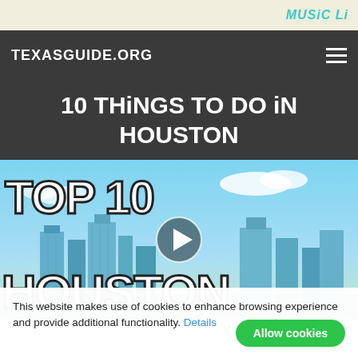MUSiC Li
TEXASGUIDE.ORG
10 THiNGS TO DO iN HOUSTON
[Figure (screenshot): Video thumbnail showing Houston city skyline with blue sky and clouds. Large white bold text reads 'TOP 10 HOUSTON' with a video play button circle in the center.]
This website makes use of cookies to enhance browsing experience and provide additional functionality. Details
Allow cookies